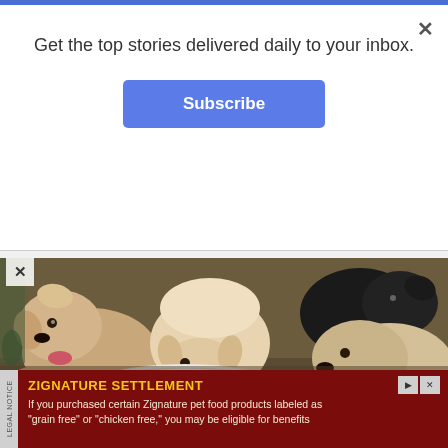Get the top stories delivered daily to your inbox.
Subscribe
[Figure (photo): Several puppies eating from a white bowl, including golden/cream colored and black puppies lapping up white food]
ZIGNATURE SETTLEMENT
If you purchased certain Zignature pet food products labeled as "grain free" or "chicken free," you may be eligible for benefits